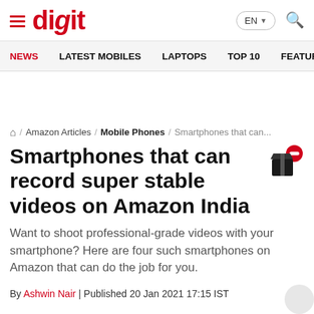digit — site header with logo, language selector and search
NEWS  LATEST MOBILES  LAPTOPS  TOP 10  FEATURES  REVI…
/ Amazon Articles / Mobile Phones / Smartphones that can…
Smartphones that can record super stable videos on Amazon India
Want to shoot professional-grade videos with your smartphone? Here are four such smartphones on Amazon that can do the job for you.
By Ashwin Nair | Published 20 Jan 2021 17:15 IST